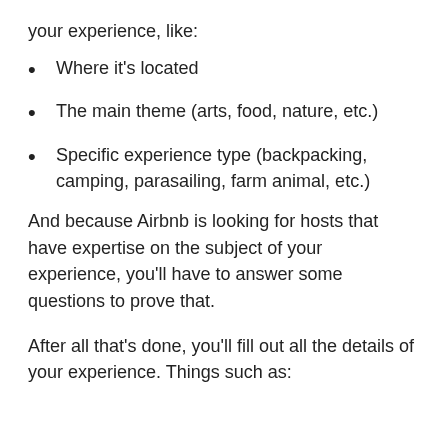your experience, like:
Where it’s located
The main theme (arts, food, nature, etc.)
Specific experience type (backpacking, camping, parasailing, farm animal, etc.)
And because Airbnb is looking for hosts that have expertise on the subject of your experience, you’ll have to answer some questions to prove that.
After all that’s done, you’ll fill out all the details of your experience. Things such as: